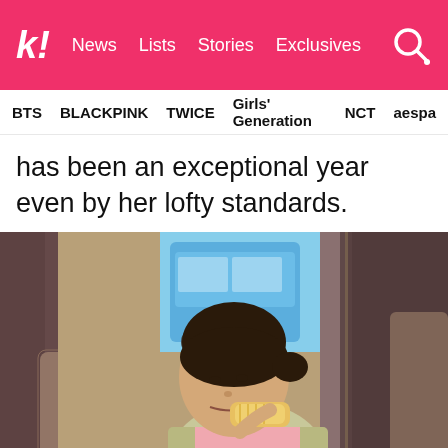k! News Lists Stories Exclusives
BTS BLACKPINK TWICE Girls' Generation NCT aespa
has been an exceptional year even by her lofty standards.
[Figure (photo): A young woman with dark hair pulled back eating a corn dog or pastry inside a vehicle with curtained windows. A blue van is visible through the window. She is wearing a light green plaid shirt over a pink top and sitting in a beige leather seat.]